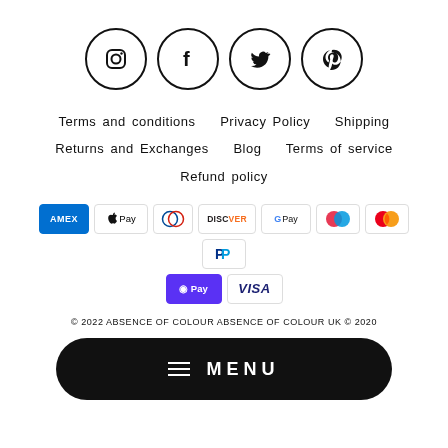[Figure (illustration): Four social media icons in circles: Instagram, Facebook, Twitter, Pinterest]
Terms and conditions   Privacy Policy   Shipping
Returns and Exchanges   Blog   Terms of service
Refund policy
[Figure (infographic): Payment method icons: American Express, Apple Pay, Diners Club, Discover, Google Pay, Maestro, Mastercard, PayPal, O Pay, Visa]
© 2022 ABSENCE OF COLOUR ABSENCE OF COLOUR UK © 2020
≡  MENU